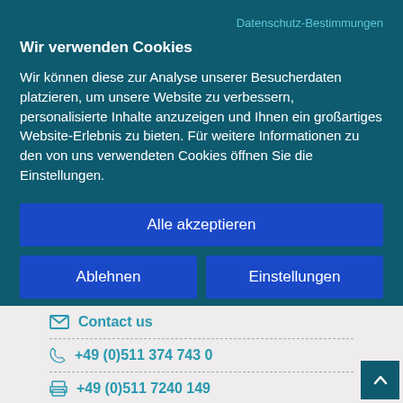Datenschutz-Bestimmungen
Wir verwenden Cookies
Wir können diese zur Analyse unserer Besucherdaten platzieren, um unsere Website zu verbessern, personalisierte Inhalte anzuzeigen und Ihnen ein großartiges Website-Erlebnis zu bieten. Für weitere Informationen zu den von uns verwendeten Cookies öffnen Sie die Einstellungen.
Alle akzeptieren
Ablehnen
Einstellungen
Contact us
+49 (0)511 374 743 0
+49 (0)511 7240 149